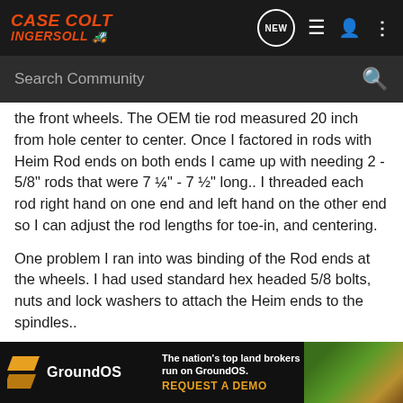Case Colt Ingersoll — NEW
the front wheels. The OEM tie rod measured 20 inch from hole center to center. Once I factored in rods with Heim Rod ends on both ends I came up with needing 2 - 5/8" rods that were 7 ¼" - 7 ½" long.. I threaded each rod right hand on one end and left hand on the other end so I can adjust the rod lengths for toe-in, and centering.
One problem I ran into was binding of the Rod ends at the wheels. I had used standard hex headed 5/8 bolts, nuts and lock washers to attach the Heim ends to the spindles..
The new center pivot on the tie rods, causes the rods to angle up in the center about ½ inch when at the limits of the steering.. The larg eim ends ca ering limits.
[Figure (screenshot): GroundOS advertisement banner: 'The nation's top land brokers run on GroundOS. REQUEST A DEMO']